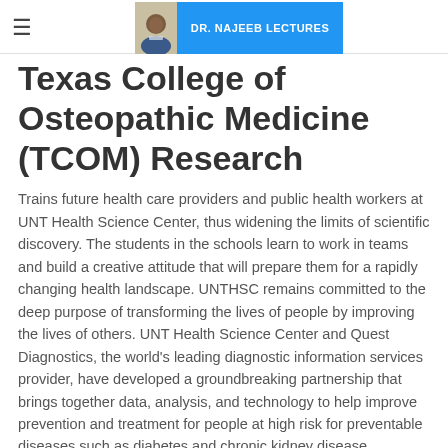DR. NAJEEB LECTURES
Texas College of Osteopathic Medicine (TCOM) Research
Trains future health care providers and public health workers at UNT Health Science Center, thus widening the limits of scientific discovery. The students in the schools learn to work in teams and build a creative attitude that will prepare them for a rapidly changing health landscape. UNTHSC remains committed to the deep purpose of transforming the lives of people by improving the lives of others. UNT Health Science Center and Quest Diagnostics, the world's leading diagnostic information services provider, have developed a groundbreaking partnership that brings together data, analysis, and technology to help improve prevention and treatment for people at high risk for preventable diseases such as diabetes and chronic kidney disease. UNTHSC and Quest